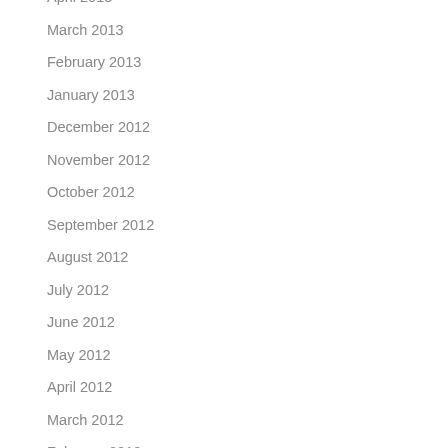April 2013
March 2013
February 2013
January 2013
December 2012
November 2012
October 2012
September 2012
August 2012
July 2012
June 2012
May 2012
April 2012
March 2012
February 2012